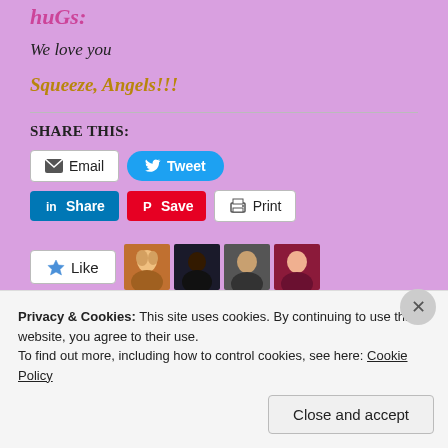huGs:
We love you
Squeeze, Angels!!!
SHARE THIS:
[Figure (screenshot): Social sharing buttons: Email, Tweet (Twitter), LinkedIn Share, Pinterest Save, Print]
[Figure (screenshot): Like button with star icon and four user avatar thumbnails]
Privacy & Cookies: This site uses cookies. By continuing to use this website, you agree to their use. To find out more, including how to control cookies, see here: Cookie Policy
Close and accept